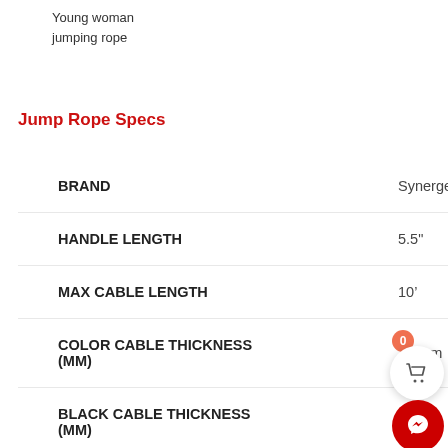Young woman
jumping rope
Jump Rope Specs
|  |  |
| --- | --- |
| BRAND | Synergee |
| HANDLE LENGTH | 5.5" |
| MAX CABLE LENGTH | 10’ |
| COLOR CABLE THICKNESS (MM) | 3.2mm |
| BLACK CABLE THICKNESS (MM) | 4mm |